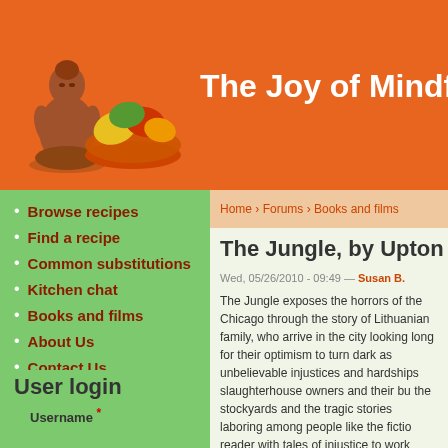The Joy of Mindful C
Home › Forums › Books and films
Browse recipes
Find a recipe
Common substitutions
Kitchen chat
Books and films
About Us
Contact Us
Blog
User login
Username *
The Jungle, by Upton S
Wed, 05/26/2010 - 09:49 — Susan B.
The Jungle exposes the horrors of the Chicago through the story of Lithuanian family, who arrive in the city looking long for their optimism to turn dark as unbelievable injustices and hardships slaughterhouse owners and their bu the stockyards and the tragic stories laboring among people like the fictio reader with tales of injustice to work discussion of the cruelties visited up yards for slaughter.